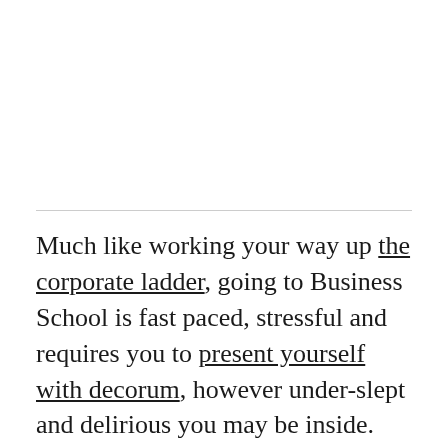Much like working your way up the corporate ladder, going to Business School is fast paced, stressful and requires you to present yourself with decorum, however under-slept and delirious you may be inside. Doing that requires high-quality gear for the on-the-go lifestyle. These essentials will go a long way towards advancing your professional life, while still allowing you to keep